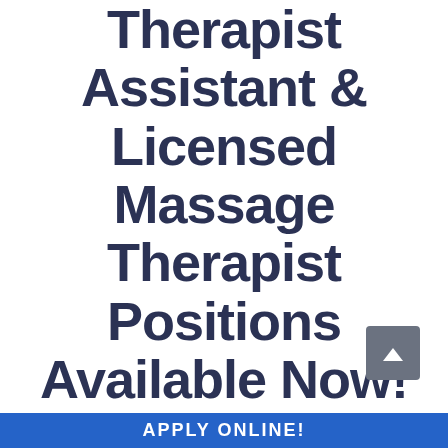Therapist Assistant & Licensed Massage Therapist Positions Available Now!
[Figure (other): Gray scroll-to-top button with upward chevron arrow]
APPLY ONLINE!